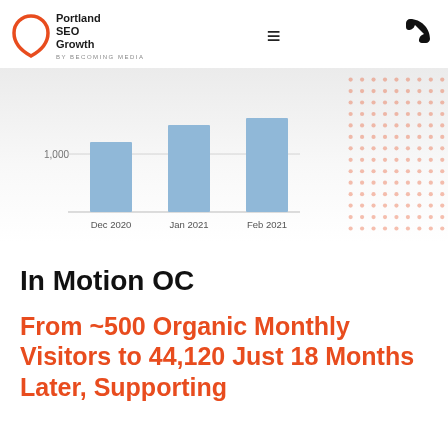[Figure (logo): Portland SEO Growth by Becoming Media logo with orange pentagon-like shape]
[Figure (bar-chart): Organic monthly visitors]
In Motion OC
From ~500 Organic Monthly Visitors to 44,120 Just 18 Months Later, Supporting